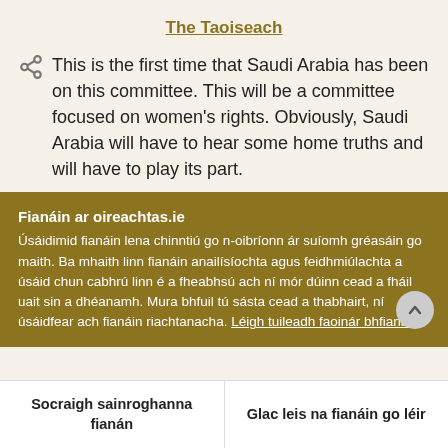The Taoiseach
This is the first time that Saudi Arabia has been on this committee. This will be a committee focused on women's rights. Obviously, Saudi Arabia will have to hear some home truths and will have to play its part.
Fianáin ar oireachtas.ie
Úsáidimid fianáin lena chinntiú go n-oibríonn ár suíomh gréasáin go maith. Ba mhaith linn fianáin anailísíochta agus feidhmiúlachta a úsáid chun cabhrú linn é a fheabhsú ach ní mór dúinn cead a fháil uait sin a dhéanamh. Mura bhfuil tú sásta cead a thabhairt, ní úsáidfear ach fianáin riachtanacha. Léigh tuileadh faoinár bhfianáin
Socraigh sainroghanna fianán
Glac leis na fianáin go léir